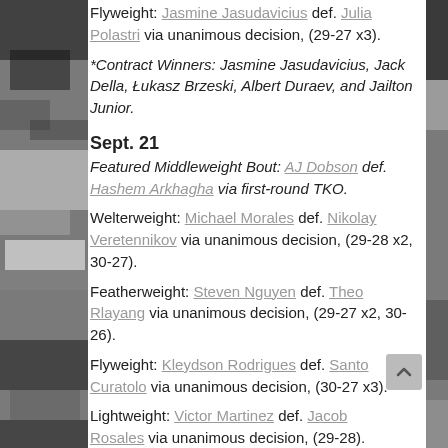Flyweight: Jasmine Jasudavicius def. Julia Polastri via unanimous decision, (29-27 x3).
*Contract Winners: Jasmine Jasudavicius, Jack Della, Łukasz Brzeski, Albert Duraev, and Jailton Junior.
Sept. 21
Featured Middleweight Bout: AJ Dobson def. Hashem Arkhagha via first-round TKO.
Welterweight: Michael Morales def. Nikolay Veretennikov via unanimous decision, (29-28 x2, 30-27).
Featherweight: Steven Nguyen def. Theo Rlayang via unanimous decision, (29-27 x2, 30-26).
Flyweight: Kleydson Rodrigues def. Santo Curatolo via unanimous decision, (30-27 x3).
Lightweight: Victor Martinez def. Jacob Rosales via unanimous decision, (29-28).
*Contract Winners: Victor Martinez, Kleydson Rodrigues,